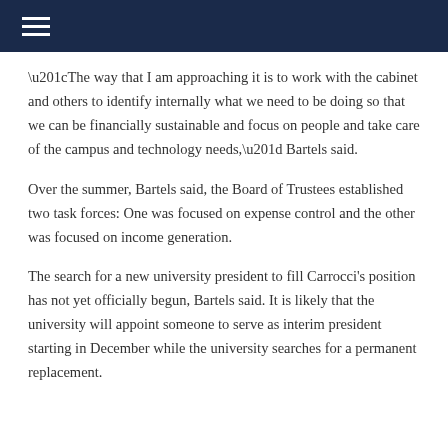“The way that I am approaching it is to work with the cabinet and others to identify internally what we need to be doing so that we can be financially sustainable and focus on people and take care of the campus and technology needs,” Bartels said.
Over the summer, Bartels said, the Board of Trustees established two task forces: One was focused on expense control and the other was focused on income generation.
The search for a new university president to fill Carrocci's position has not yet officially begun, Bartels said. It is likely that the university will appoint someone to serve as interim president starting in December while the university searches for a permanent replacement.